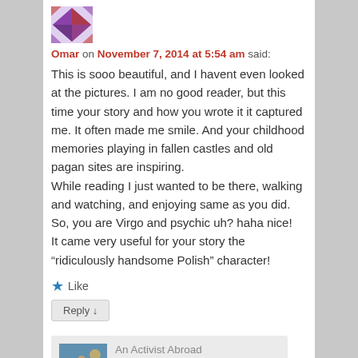[Figure (logo): Geometric avatar icon with purple/red pattern]
Omar on November 7, 2014 at 5:54 am said:
This is sooo beautiful, and I havent even looked at the pictures. I am no good reader, but this time your story and how you wrote it it captured me. It often made me smile. And your childhood memories playing in fallen castles and old pagan sites are inspiring.
While reading I just wanted to be there, walking and watching, and enjoying same as you did.
So, you are Virgo and psychic uh? haha nice!
It came very useful for your story the “ridiculously handsome Polish” character!
★ Like
Reply ↓
[Figure (photo): Small thumbnail photo of a person outdoors]
An Activist Abroad on November 12, 2014 at 6:54 pm said: